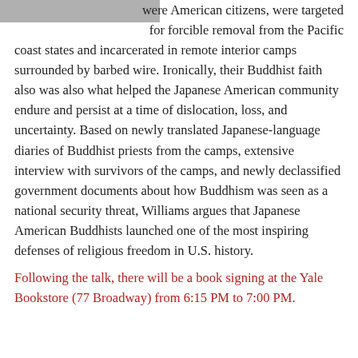[Figure (photo): Partial photo visible at top left corner, appears to be a historical black and white image]
were American citizens, were targeted for forcible removal from the Pacific coast states and incarcerated in remote interior camps surrounded by barbed wire. Ironically, their Buddhist faith also was also what helped the Japanese American community endure and persist at a time of dislocation, loss, and uncertainty. Based on newly translated Japanese-language diaries of Buddhist priests from the camps, extensive interview with survivors of the camps, and newly declassified government documents about how Buddhism was seen as a national security threat, Williams argues that Japanese American Buddhists launched one of the most inspiring defenses of religious freedom in U.S. history.
Following the talk, there will be a book signing at the Yale Bookstore (77 Broadway) from 6:15 PM to 7:00 PM.